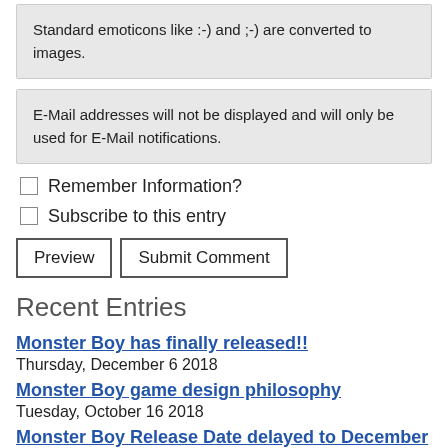Standard emoticons like :-) and ;-) are converted to images.
E-Mail addresses will not be displayed and will only be used for E-Mail notifications.
Remember Information?
Subscribe to this entry
Preview  Submit Comment
Recent Entries
Monster Boy has finally released!!
Thursday, December 6 2018
Monster Boy game design philosophy
Tuesday, October 16 2018
Monster Boy Release Date delayed to December 4